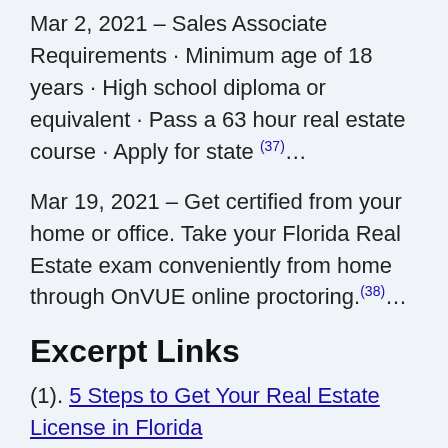Mar 2, 2021 – Sales Associate Requirements · Minimum age of 18 years · High school diploma or equivalent · Pass a 63 hour real estate course · Apply for state (37)...
Mar 19, 2021 – Get certified from your home or office. Take your Florida Real Estate exam conveniently from home through OnVUE online proctoring.(38)...
Excerpt Links
(1). 5 Steps to Get Your Real Estate License in Florida